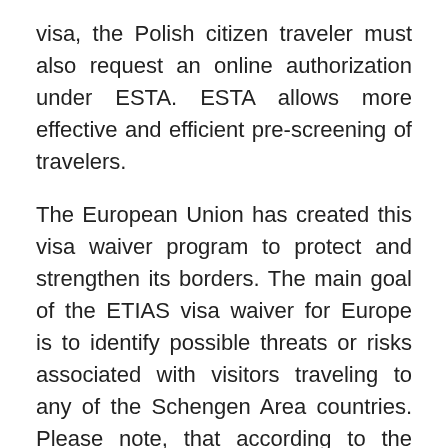visa, the Polish citizen traveler must also request an online authorization under ESTA. ESTA allows more effective and efficient pre-screening of travelers.
The European Union has created this visa waiver program to protect and strengthen its borders. The main goal of the ETIAS visa waiver for Europe is to identify possible threats or risks associated with visitors traveling to any of the Schengen Area countries. Please note, that according to the Russia-EU Visa Facilitation Agreement visa fees for EU passport holders are fixed in Euros. The fees are: For all types of visa (including multiple entry) for 10 days processing – 35 Euros. For all types of visa (including multiple entry) for urgent (3 days) processing – 70 Euros. The Euro 2020 finally gets under way after the year-long delay caused by the Covid-19 pandemic.